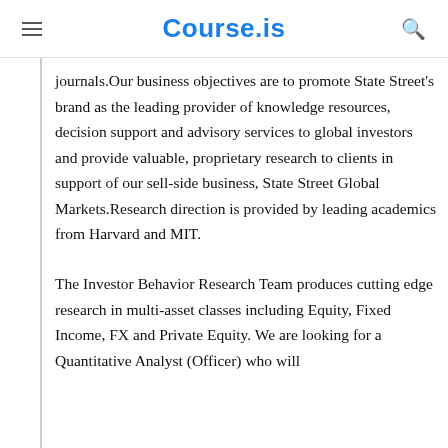Course.is
journals.Our business objectives are to promote State Street's brand as the leading provider of knowledge resources, decision support and advisory services to global investors and provide valuable, proprietary research to clients in support of our sell-side business, State Street Global Markets.Research direction is provided by leading academics from Harvard and MIT.
The Investor Behavior Research Team produces cutting edge research in multi-asset classes including Equity, Fixed Income, FX and Private Equity. We are looking for a Quantitative Analyst (Officer) who will